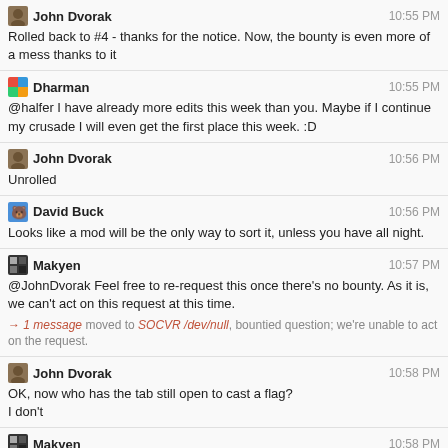John Dvorak 10:55 PM
Rolled back to #4 - thanks for the notice. Now, the bounty is even more of a mess thanks to it
Dharman 10:55 PM
@halfer I have already more edits this week than you. Maybe if I continue my crusade I will even get the first place this week. :D
John Dvorak 10:56 PM
Unrolled
David Buck 10:56 PM
Looks like a mod will be the only way to sort it, unless you have all night.
Makyen 10:57 PM
@JohnDvorak Feel free to re-request this once there's no bounty. As it is, we can't act on this request at this time.
→ 1 message moved to SOCVR /dev/null, bountied question; we're unable to act on the request.
John Dvorak 10:58 PM
OK, now who has the tab still open to cast a flag?
I don't
Makyen 10:58 PM
@JohnDvorak You can click on the "1 message" link in the move message and be taken directly to the transcript with the message highlighted.